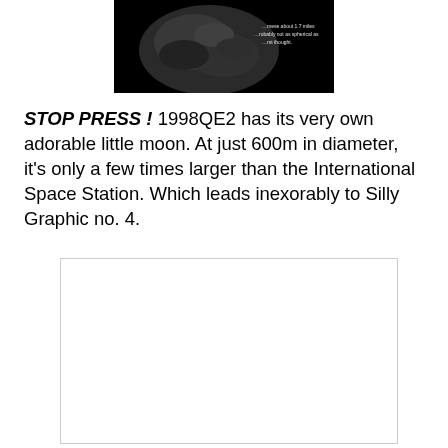[Figure (photo): Dark image of asteroid 1998QE2 with white text overlay reading about 1.7 miles, probably not as spherical as first thought]
STOP PRESS ! 1998QE2 has its very own adorable little moon. At just 600m in diameter, it's only a few times larger than the International Space Station. Which leads inexorably to Silly Graphic no. 4.
[Figure (illustration): White/light gray box with border — Silly Graphic no. 4 placeholder]